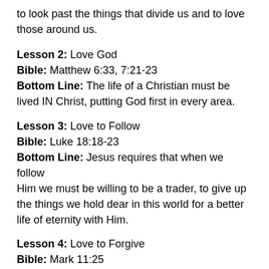to look past the things that divide us and to love those around us.
Lesson 2: Love God
Bible: Matthew 6:33, 7:21-23
Bottom Line: The life of a Christian must be lived IN Christ, putting God first in every area.
Lesson 3: Love to Follow
Bible: Luke 18:18-23
Bottom Line: Jesus requires that when we follow Him we must be willing to be a trader, to give up the things we hold dear in this world for a better life of eternity with Him.
Lesson 4: Love to Forgive
Bible: Mark 11:25
Bottom Line: Jesus calls Christians to forgive